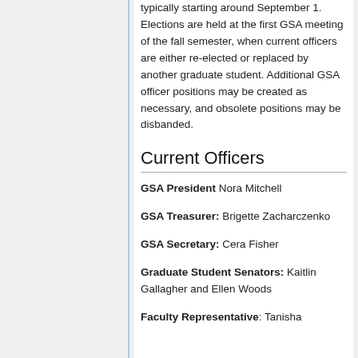typically starting around September 1. Elections are held at the first GSA meeting of the fall semester, when current officers are either re-elected or replaced by another graduate student. Additional GSA officer positions may be created as necessary, and obsolete positions may be disbanded.
Current Officers
GSA President Nora Mitchell
GSA Treasurer: Brigette Zacharczenko
GSA Secretary: Cera Fisher
Graduate Student Senators: Kaitlin Gallagher and Ellen Woods
Faculty Representative: Tanisha